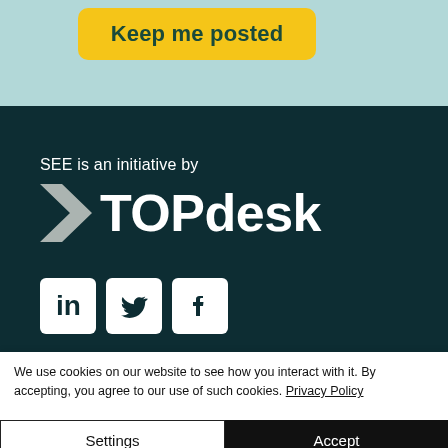[Figure (screenshot): Yellow rounded button labeled 'Keep me posted' on a light teal background]
[Figure (logo): TOPdesk logo — white arrow chevron and wordmark 'TOPdesk' on dark teal background, with text 'SEE is an initiative by' above and social media icons (LinkedIn, Twitter, Facebook) below]
We use cookies on our website to see how you interact with it. By accepting, you agree to our use of such cookies. Privacy Policy
Settings
Accept